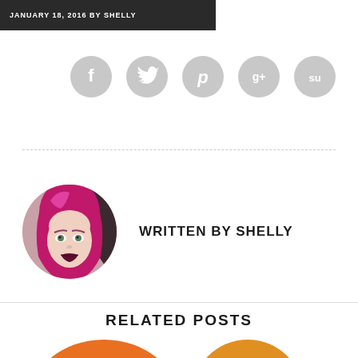JANUARY 18, 2016 BY SHELLY
[Figure (infographic): Row of five circular social media share buttons in light gray: Facebook (f), Twitter (bird), Pinterest (p), Google+ (g+), StumbleUpon (su)]
[Figure (photo): Circular portrait photo of Shelly, a woman with bright pink/magenta hair, fair skin, green eyes, and dark lipstick]
WRITTEN BY SHELLY
RELATED POSTS